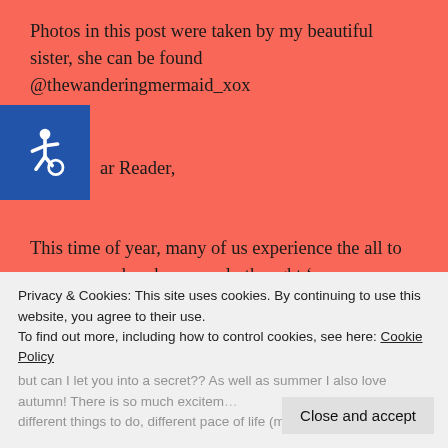Photos in this post were taken by my beautiful sister, she can be found @thewanderingmermaid_xox
[Figure (illustration): Blue accessibility icon (wheelchair symbol) on a blue square background]
Dear Reader,
This time of year, many of us experience the all to common and perhaps overly thought ‘summer blues’; long hazy days are shortening, day trips in the great outdoors are more depended on ‘weather permitting’ and if we do decide to go we make sure we have an umbrella or a coat or something warm or anything we think we might need ‘just in case.’ We think the best and brightness days of the
Privacy & Cookies: This site uses cookies. By continuing to use this website, you agree to their use.
To find out more, including how to control cookies, see here: Cookie Policy
but can I let you into a secret?? As well as summer I also love autumn! There is so much excitem… different things to do, different pace of life (maybe you
Close and accept